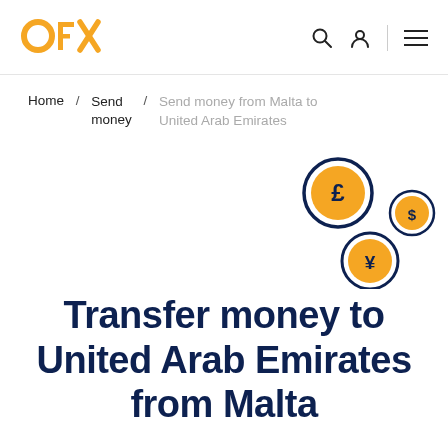[Figure (logo): OFX logo in orange]
Home / Send money / Send money from Malta to United Arab Emirates
[Figure (illustration): Three currency coin icons: pound sterling (large), dollar (small), yen (medium), arranged decoratively in upper right area]
Transfer money to United Arab Emirates from Malta